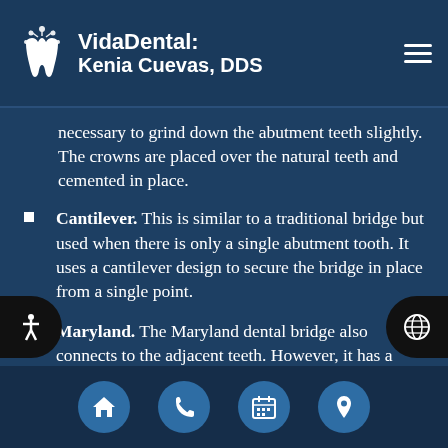VidaDental: Kenia Cuevas, DDS
necessary to grind down the abutment teeth slightly. The crowns are placed over the natural teeth and cemented in place.
Cantilever. This is similar to a traditional bridge but used when there is only a single abutment tooth. It uses a cantilever design to secure the bridge in place from a single point.
Maryland. The Maryland dental bridge also connects to the adjacent teeth. However, it has a metal framework that bonds to the inside of the natural teeth with resin, avoiding the need for crowns on the abutment teeth.
Navigation: Home, Phone, Calendar, Location